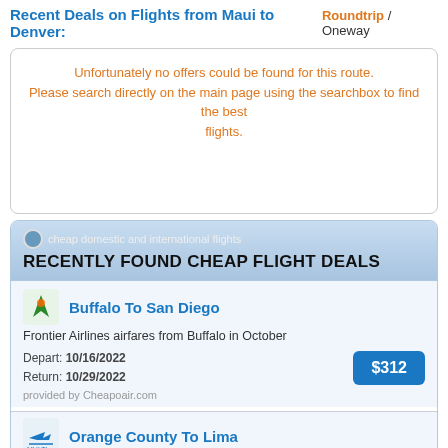Recent Deals on Flights from Maui to Denver: Roundtrip / Oneway
Unfortunately no offers could be found for this route. Please search directly on the main page using the searchbox to find the best flights.
cheap domestic and international flights RECENTLY FOUND CHEAP FLIGHT DEALS
Buffalo To San Diego
Frontier Airlines airfares from Buffalo in October
Depart: 10/16/2022
Return: 10/29/2022
provided by Cheapoair.com
$312
Orange County To Lima